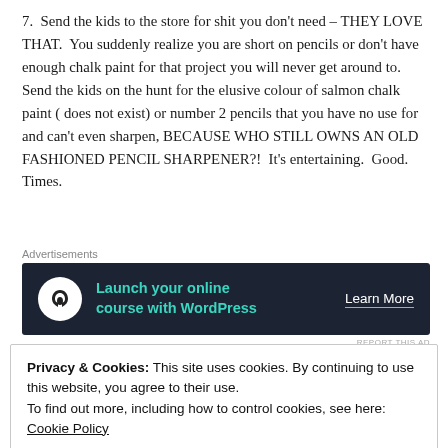7.  Send the kids to the store for shit you don't need – THEY LOVE THAT.  You suddenly realize you are short on pencils or don't have enough chalk paint for that project you will never get around to.  Send the kids on the hunt for the elusive colour of salmon chalk paint ( does not exist) or number 2 pencils that you have no use for and can't even sharpen, BECAUSE WHO STILL OWNS AN OLD FASHIONED PENCIL SHARPENER?!  It's entertaining.  Good. Times.
[Figure (other): Advertisement banner: 'Launch your online course with WordPress' with 'Learn More' button on dark background]
6.  Write down the cooking instructions for dinner – Make them
Privacy & Cookies: This site uses cookies. By continuing to use this website, you agree to their use.
To find out more, including how to control cookies, see here: Cookie Policy
Close and accept
grateful for not having to burn the house down trying to make that